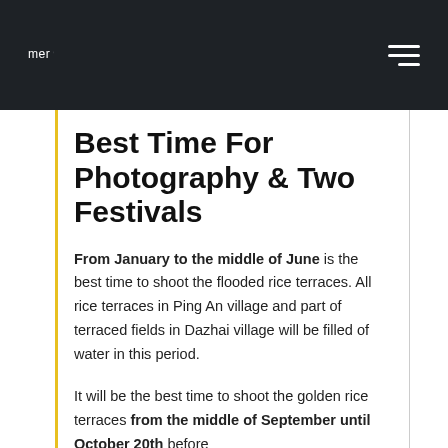mercier zeng
Best Time For Photography & Two Festivals
From January to the middle of June is the best time to shoot the flooded rice terraces. All rice terraces in Ping An village and part of terraced fields in Dazhai village will be filled of water in this period.
It will be the best time to shoot the golden rice terraces from the middle of September until October 20th before